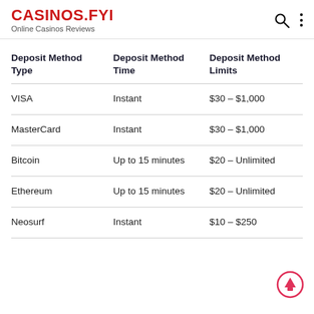CASINOS.FYI Online Casinos Reviews
| Deposit Method Type | Deposit Method Time | Deposit Method Limits |
| --- | --- | --- |
| VISA | Instant | $30 – $1,000 |
| MasterCard | Instant | $30 – $1,000 |
| Bitcoin | Up to 15 minutes | $20 – Unlimited |
| Ethereum | Up to 15 minutes | $20 – Unlimited |
| Neosurf | Instant | $10 – $250 |